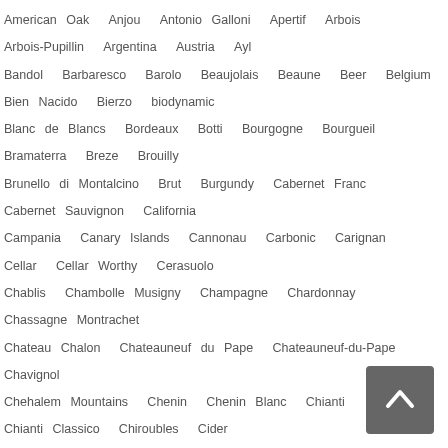American Oak Anjou Antonio Galloni Apertif Arbois Arbois-Pupillin Argentina Austria Ayl Bandol Barbaresco Barolo Beaujolais Beaune Beer Belgium Bien Nacido Bierzo biodynamic Blanc de Blancs Bordeaux Botti Bourgogne Bourgueil Bramaterra Breze Brouilly Brunello di Montalcino Brut Burgundy Cabernet Franc Cabernet Sauvignon California Campania Canary Islands Cannonau Carbonic Carignan Cellar Cellar Worthy Cerasuolo Chablis Chambolle Musigny Champagne Chardonnay Chassagne Montrachet Chateau Chalon Chateauneuf du Pape Chateauneuf-du-Pape Chavignol Chehalem Mountains Chenin Chenin Blanc Chianti Chianti Classico Chiroubles Cider Cinsault Clairette Clear Lake Clos Columbia Gorge Cool Climate Coombsville Cornas Cote de Beaune Cote de Brouilly cote de nuits Cote Rotie Coteaux de Dijon Cotes du Jura Cotes du Rhone Diatomaceous Dijon Dolcetto Dry Riesling Ecueil Eola-Amity Hills Eric Asimov Etna Extra Brut Fiano Fleurie France Frappato Freisa French Alps Friuli Galicia Gamay Gang of Four Garnacha Gattinara Germany gevrey chambertin Gevrey-Chambertin Ghemme Gigondas Glou Glou Good Value Gran Reserva Grand Cru